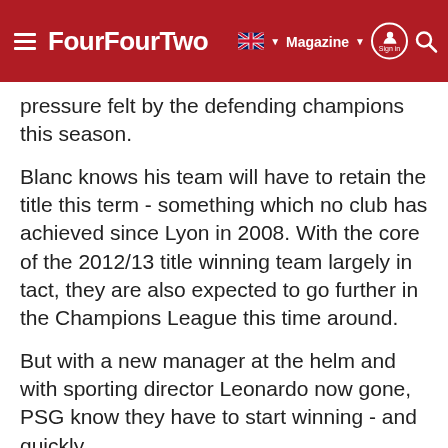FourFourTwo — Magazine | Sign in
pressure felt by the defending champions this season.
Blanc knows his team will have to retain the title this term - something which no club has achieved since Lyon in 2008. With the core of the 2012/13 title winning team largely in tact, they are also expected to go further in the Champions League this time around.
But with a new manager at the helm and with sporting director Leonardo now gone, PSG know they have to start winning - and quickly.
Advertisement